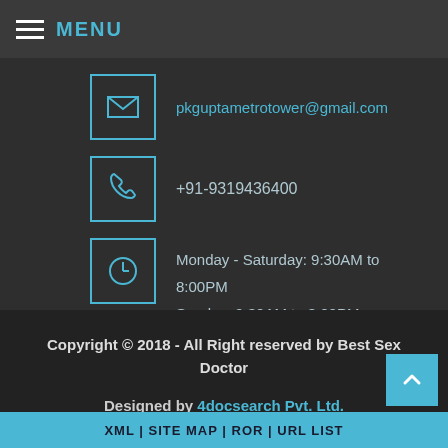MENU
pkguptametrotower@gmail.com
+91-9319436400
Monday - Saturday: 9:30AM to 8:00PM
Sunday: 9:30AM to 3:00PM
Copyright © 2018 - All Right reserved by Best Sex Doctor
Designed by 4docsearch Pvt. Ltd.
XML | SITE MAP | ROR | URL LIST